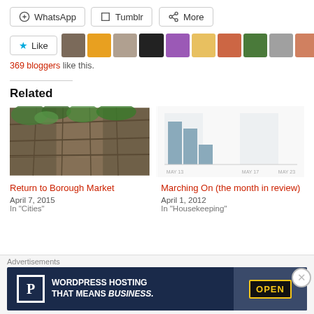[Figure (screenshot): Share buttons row: WhatsApp, Tumblr, More]
[Figure (screenshot): Like button with star icon and 10 blogger avatars]
369 bloggers like this.
Related
[Figure (photo): Photo of wooden crates with plants/ivy for 'Return to Borough Market' article]
Return to Borough Market
April 7, 2015
In "Cities"
[Figure (bar-chart): Bar chart with dates MAY 13, MAY 17, MAY 23 on x-axis showing blog view counts]
Marching On (the month in review)
April 1, 2012
In "Housekeeping"
Advertisements
[Figure (screenshot): WordPress Hosting advertisement banner: 'WORDPRESS HOSTING THAT MEANS BUSINESS.' with P logo and OPEN sign photo]